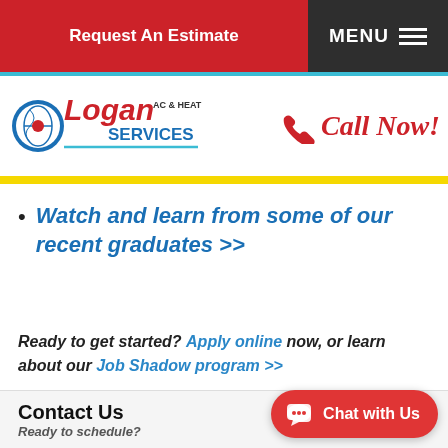Request An Estimate | MENU
[Figure (logo): Logan AC & Heat Services logo]
[Figure (other): Call Now! button with phone icon in red]
Watch and learn from some of our recent graduates >>
Ready to get started? Apply online now, or learn about our Job Shadow program >>
Contact Us
Ready to schedule?